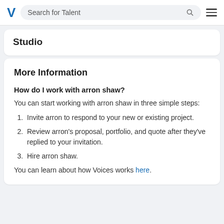Search for Talent
Studio
More Information
How do I work with arron shaw?
You can start working with arron shaw in three simple steps:
Invite arron to respond to your new or existing project.
Review arron's proposal, portfolio, and quote after they've replied to your invitation.
Hire arron shaw.
You can learn about how Voices works here.